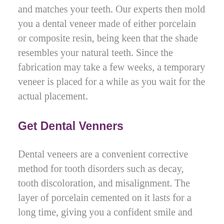and matches your teeth. Our experts then mold you a dental veneer made of either porcelain or composite resin, being keen that the shade resembles your natural teeth. Since the fabrication may take a few weeks, a temporary veneer is placed for a while as you wait for the actual placement.
Get Dental Venners
Dental veneers are a convenient corrective method for tooth disorders such as decay, tooth discoloration, and misalignment. The layer of porcelain cemented on it lasts for a long time, giving you a confident smile and